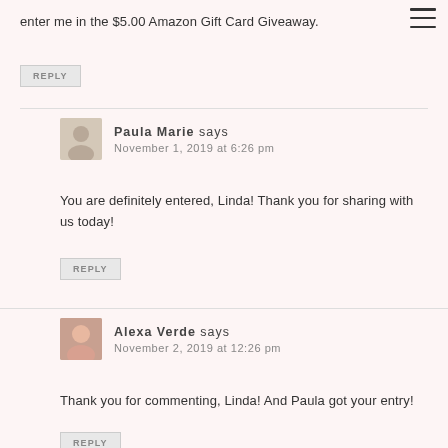enter me in the $5.00 Amazon Gift Card Giveaway.
REPLY
Paula Marie says
November 1, 2019 at 6:26 pm
You are definitely entered, Linda! Thank you for sharing with us today!
REPLY
Alexa Verde says
November 2, 2019 at 12:26 pm
Thank you for commenting, Linda! And Paula got your entry!
REPLY